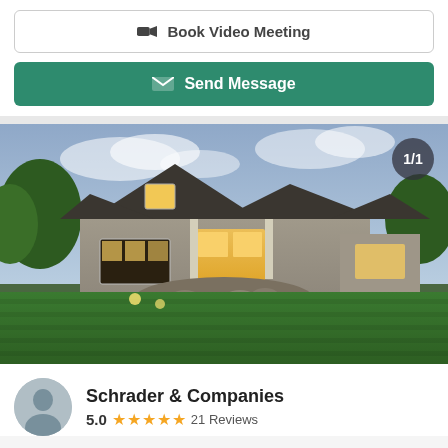[Figure (other): Book Video Meeting button with camera icon, white background with border]
[Figure (other): Send Message button with envelope icon, green background, white text]
[Figure (photo): Exterior photo of a large luxury home at dusk with manicured lawn, stone accents, and warm interior lighting. Counter badge showing 1/1 in top right.]
Schrader & Companies
5.0  ★★★★★  21 Reviews